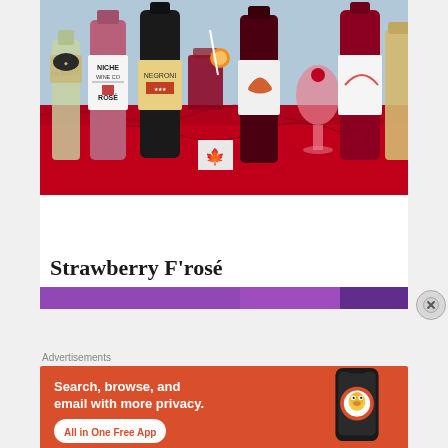[Figure (photo): Photo of wine and cocktail bottles on a red tablecloth, including Niche Wine Co Rosé and Negroni bottles, with drinks and garnishes]
Strawberry F'rosé
[Figure (photo): Partial image strip showing purple/colorful background, next image preview]
Advertisements
[Figure (infographic): DuckDuckGo advertisement banner: Search, browse, and email with more privacy. All in One Free App. Shows DuckDuckGo app on a smartphone.]